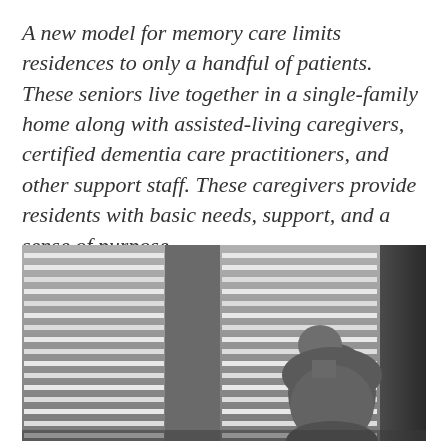A new model for memory care limits residences to only a handful of patients. These seniors live together in a single-family home along with assisted-living caregivers, certified dementia care practitioners, and other support staff. These caregivers provide residents with basic needs, support, and a sense of purpose.
[Figure (photo): Black and white photograph of an elderly person viewed from behind, leaning forward and looking out a window with white horizontal blinds. The room has a wall dividing two windows. The scene is dimly lit with subdued tones.]